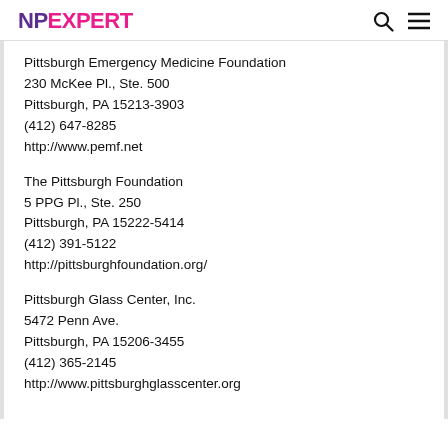NPEXPERT
Pittsburgh Emergency Medicine Foundation
230 McKee Pl., Ste. 500
Pittsburgh, PA 15213-3903
(412) 647-8285
http://www.pemf.net
The Pittsburgh Foundation
5 PPG Pl., Ste. 250
Pittsburgh, PA 15222-5414
(412) 391-5122
http://pittsburghfoundation.org/
Pittsburgh Glass Center, Inc.
5472 Penn Ave.
Pittsburgh, PA 15206-3455
(412) 365-2145
http://www.pittsburghglasscenter.org